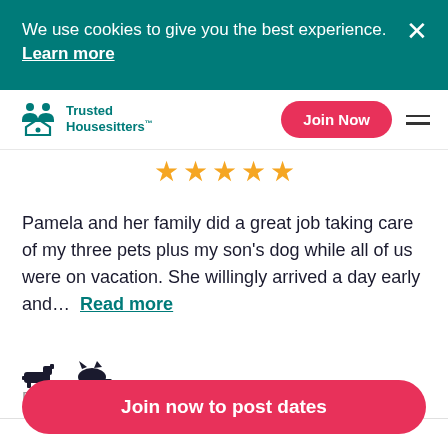We use cookies to give you the best experience. Learn more
Trusted Housesitters™ | Join Now
[Figure (other): 5 gold star rating icons]
Pamela and her family did a great job taking care of my three pets plus my son's dog while all of us were on vacation. She willingly arrived a day early and... Read more
[Figure (other): Dog and cat pet icons]
Fort Collins, CO, US · 16 Dec – 23 Dec 2017
Join now to post dates